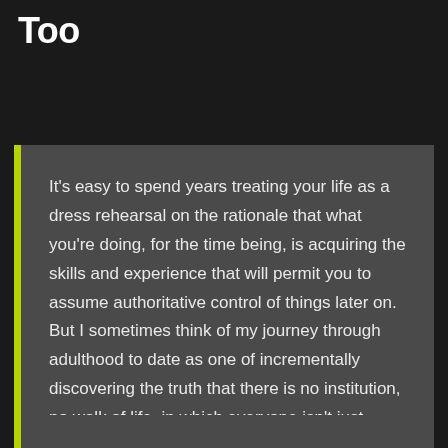...Everyone Is Winging It Too
It's easy to spend years treating your life as a dress rehearsal on the rationale that what you're doing, for the time being, is acquiring the skills and experience that will permit you to assume authoritative control of things later on. But I sometimes think of my journey through adulthood to date as one of incrementally discovering the truth that there is no institution, no walk of life, in which everyone isn't just winging it, all the time.